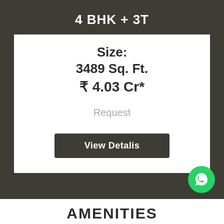4 BHK + 3T
Size:
3489 Sq. Ft.
₹ 4.03 Cr*
Request
View Detalis
AMENITIES